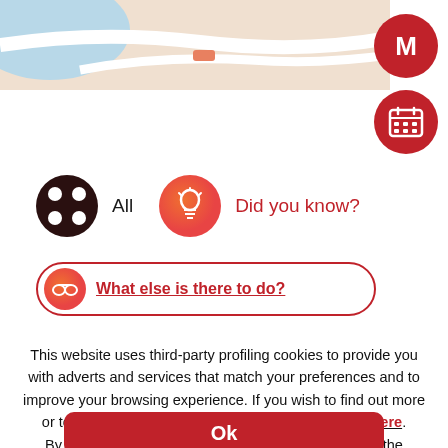[Figure (screenshot): Partial map view with road lines and a location marker, shown at the top of the page]
[Figure (screenshot): Two red circular floating action buttons in top-right: one with letter M, one with a calendar grid icon]
[Figure (screenshot): Filter row with a dark circle button showing four dots labeled All, and an orange-red circle button with lightbulb icon labeled Did you know?]
[Figure (screenshot): A pill-shaped card with border showing What else is there to do? with an icon on the left]
This website uses third-party profiling cookies to provide you with adverts and services that match your preferences and to improve your browsing experience. If you wish to find out more or to refuse consent for all or certain cookies, click here. By closing this banner or clicking on any element on the website, you agree to use of cookies.
Ok